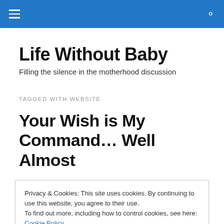Life Without Baby — site navigation header
Life Without Baby
Filling the silence in the motherhood discussion
TAGGED WITH WEBSITE
Your Wish is My Command… Well Almost
Privacy & Cookies: This site uses cookies. By continuing to use this website, you agree to their use.
To find out more, including how to control cookies, see here: Cookie Policy
Close and accept